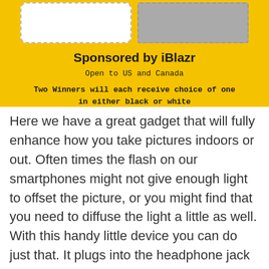[Figure (illustration): Yellow banner with two image placeholders side by side — left is a white rectangle with dashed border, right is a gray rectangle with dashed border]
Sponsored by iBlazr
Open to US and Canada
Two Winners will each receive choice of one in either black or white
Here we have a great gadget that will fully enhance how you take pictures indoors or out. Often times the flash on our smartphones might not give enough light to offset the picture, or you might find that you need to diffuse the light a little as well. With this handy little device you can do just that. It plugs into the headphone jack of your smartphone, whether it is Apple or Android based, does not matter. The accessories that come with it, allow you to use it as a flash for many regular cameras as well, and has a USB cord to keep it